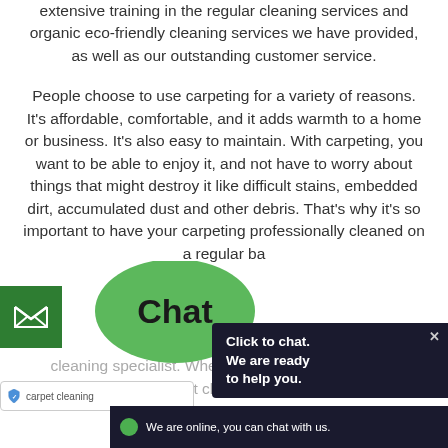extensive training in the regular cleaning services and organic eco-friendly cleaning services we have provided, as well as our outstanding customer service.
People choose to use carpeting for a variety of reasons. It's affordable, comfortable, and it adds warmth to a home or business. It's also easy to maintain. With carpeting, you want to be able to enjoy it, and not have to worry about things that might destroy it like difficult stains, embedded dirt, accumulated dust and other debris. That's why it's so important to have your carpeting professionally cleaned on a regular ba[sis]. [Li]vermore, CA is your [carpet] cleaning specialist. When it co[mes to outstan]ding carpet cleaning serv[ices]...
[Figure (screenshot): Live chat widget overlay showing a green chat bubble with 'Chat' text, a dark sidebar with 'Click to chat. We are ready to help you.' text and close button, an email button on the left, and an online status bar at the bottom reading 'We are online, you can chat with us.']